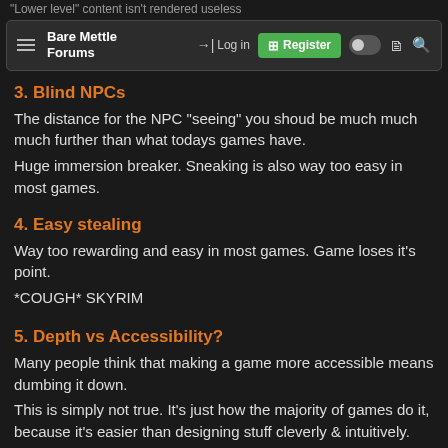"Lower level" content isn't rendered useless
Bare Mettle Forums | Log in | Register
3. Blind NPCs
The distance for the NPC "seeing" you shoud be much much much further than what todays games have.
Huge immersion breaker. Sneaking is also way too easy in most games.
4. Easy stealing
Way too rewarding and easy in most games. Game loses it's point.
*COUGH* SKYRIM
5. Depth vs Accessibility?
Many people think that making a game more accessible means dumbing it down.
This is simply not true. It's just how the majority of games do it, because it's easier than designing stuff cleverly & intuitively.
A game being complex doesn't equal to it having depth.